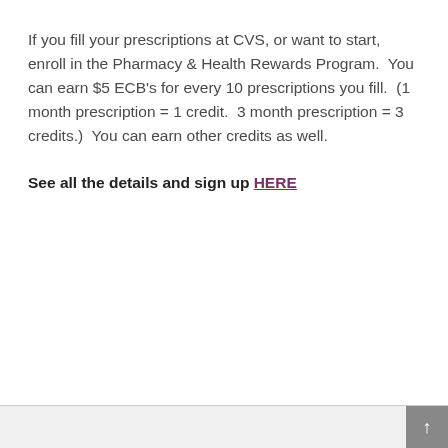If you fill your prescriptions at CVS, or want to start, enroll in the Pharmacy & Health Rewards Program.  You can earn $5 ECB's for every 10 prescriptions you fill.  (1 month prescription = 1 credit.  3 month prescription = 3 credits.)  You can earn other credits as well.
See all the details and sign up HERE